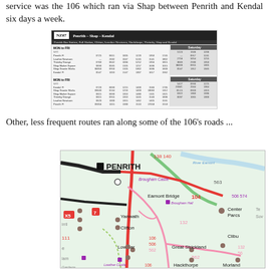service was the 106 which ran via Shap between Penrith and Kendal six days a week.
[Figure (table-as-image): NZ07 Penrith - Shap - Kendal bus timetable showing Monday to Friday and Saturday services in both directions]
Other, less frequent routes ran along some of the 106's roads ...
[Figure (map): Road map showing Penrith area with bus routes 104, 106, 132, 138, 140, 506, 562, 574 marked. Shows locations including Penrith, Eamont Bridge, Brougham Castle, Brougham Hall, Yanwath, Clifton, Lowther, Great Strickland, Hackthorpe, Morland, Center Parcs.]